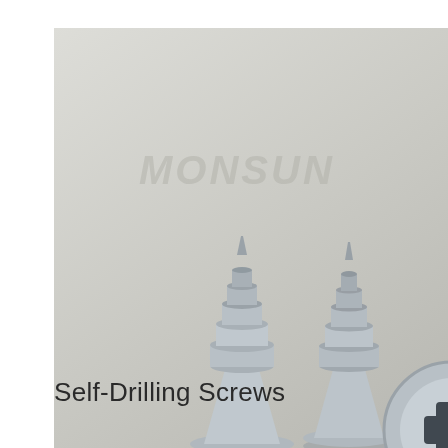[Figure (photo): Product photo of self-drilling screws on a grey background with MONSUN watermark. Three screws shown: two standing upright showing threaded shafts and flat heads, one lying flat showing Phillips head drive. A chat widget is overlaid on the right side showing a customer service agent, '24/7 Online' text, 'Click here for free chat!' and an orange QUOTATION button.]
Self-Drilling Screws